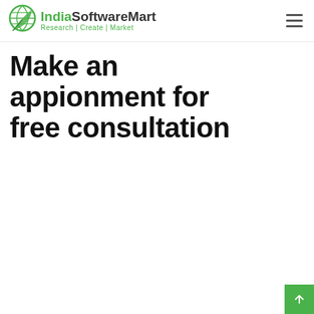IndiaSoftwareMart Research | Create | Market
Make an appionment for free consultation